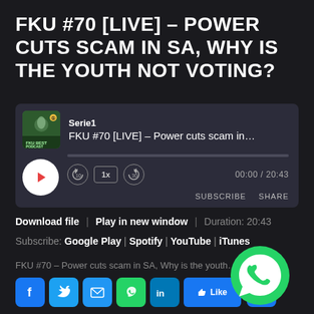FKU #70 [LIVE] – POWER CUTS SCAM IN SA, WHY IS THE YOUTH NOT VOTING?
[Figure (screenshot): Podcast audio player card showing Serie1, FKU #70 [LIVE] – Power cuts scam in SA, W, with play button, progress bar, controls (10 back, 1x speed, 30 forward), time 00:00 / 20:43, SUBSCRIBE and SHARE buttons]
Download file | Play in new window | Duration: 20:43
Subscribe: Google Play | Spotify | YouTube | iTunes
FKU #70 – Power cuts scam in SA, Why is the youth no
[Figure (infographic): Social sharing bar with Facebook, Twitter, Email, WhatsApp, LinkedIn, Like, Plus buttons and large WhatsApp logo]